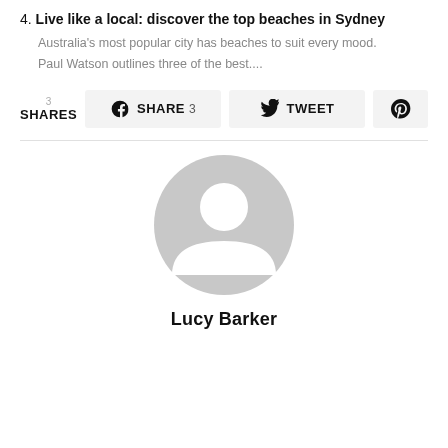4. Live like a local: discover the top beaches in Sydney
Australia's most popular city has beaches to suit every mood.
Paul Watson outlines three of the best....
3 SHARES  SHARE 3  TWEET  (Pinterest icon)
[Figure (illustration): Generic user avatar placeholder — a grey circle with a person silhouette (head circle and shoulders arc)]
Lucy Barker